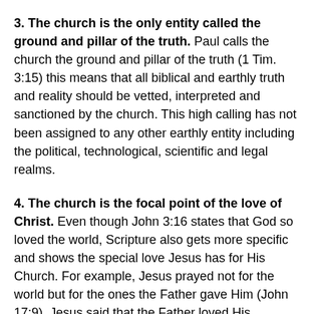3. The church is the only entity called the ground and pillar of the truth. Paul calls the church the ground and pillar of the truth (1 Tim. 3:15) this means that all biblical and earthly truth and reality should be vetted, interpreted and sanctioned by the church. This high calling has not been assigned to any other earthly entity including the political, technological, scientific and legal realms.
4. The church is the focal point of the love of Christ. Even though John 3:16 states that God so loved the world, Scripture also gets more specific and shows the special love Jesus has for His Church. For example, Jesus prayed not for the world but for the ones the Father gave Him (John 17:9). Jesus said that the Father loved His followers as much as He loved Christ (John 17:23-25). Saint Paul admonished husbands to love their wives the way Christ loved the church and gave Himself up for her (Eph. 5:25) as well as to nourish and cherish her as Christ does the church (Eph. 5:29). No other earthly institution can